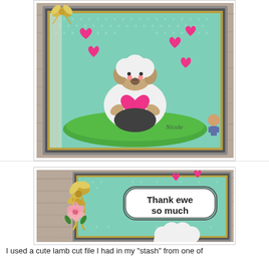[Figure (photo): A handmade greeting card featuring a cute lamb cut file character holding a pink heart, sitting on a green hill, on a mint green polka dot background with pink hearts, gold bow decoration at top left, watermark 'Nicole' visible]
[Figure (photo): Close-up of the same handmade card showing 'Thank ewe so much' sentiment label on the mint green polka dot background, with gold ribbon bow and pink rose flower embellishment, and partial view of lamb cut file at bottom]
I used a cute lamb cut file I had in my "stash" from one of